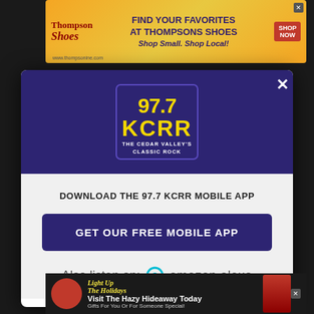[Figure (screenshot): Background dark webpage with Thompson Shoes advertisement at top and Hazy Hideaway ad at bottom]
[Figure (logo): 97.7 KCRR - The Cedar Valley's Classic Rock radio station logo in yellow and white on dark purple background]
DOWNLOAD THE 97.7 KCRR MOBILE APP
GET OUR FREE MOBILE APP
Also listen on: amazon alexa